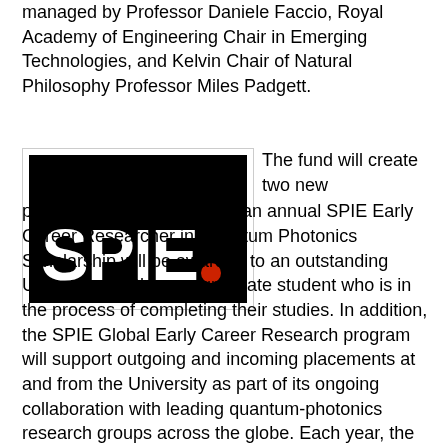managed by Professor Daniele Faccio, Royal Academy of Engineering Chair in Emerging Technologies, and Kelvin Chair of Natural Philosophy Professor Miles Padgett.
[Figure (logo): SPIE logo: white rectangle on black background with bold text 'SPIE.' where the period is a red circle]
The fund will create two new programs at the University: an annual SPIE Early Career Researcher in Quantum Photonics Scholarship will be awarded to an outstanding University of Glasgow graduate student who is in the process of completing their studies. In addition, the SPIE Global Early Career Research program will support outgoing and incoming placements at and from the University as part of its ongoing collaboration with leading quantum-photonics research groups across the globe. Each year, the program will pair several University early-career researchers with counterparts from outside